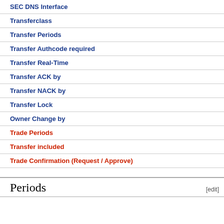SEC DNS Interface
Transferclass
Transfer Periods
Transfer Authcode required
Transfer Real-Time
Transfer ACK by
Transfer NACK by
Transfer Lock
Owner Change by
Trade Periods
Transfer included
Trade Confirmation (Request / Approve)
Periods